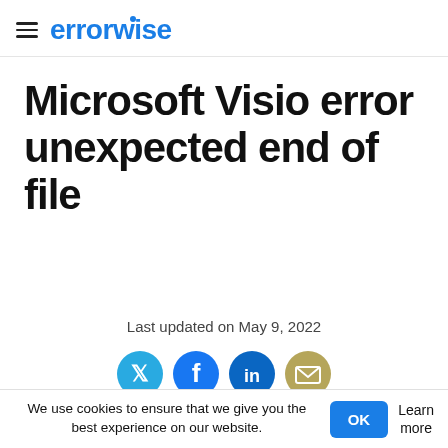errorwise
Microsoft Visio error unexpected end of file
Last updated on May 9, 2022
[Figure (other): Social sharing icons: Twitter, Facebook, LinkedIn, Email]
We use cookies to ensure that we give you the best experience on our website.